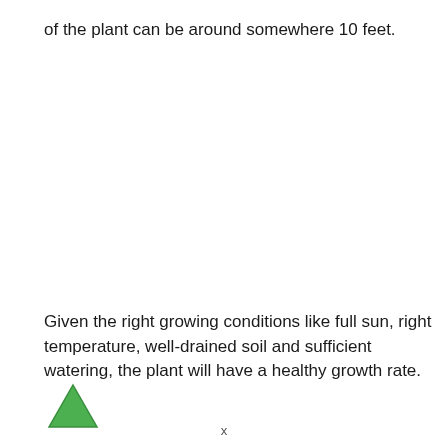of the plant can be around somewhere 10 feet.
Given the right growing conditions like full sun, right temperature, well-drained soil and sufficient watering, the plant will have a healthy growth rate.
x